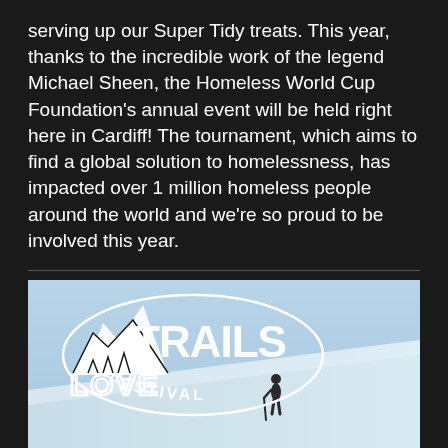serving up our Super Tidy treats. This year, thanks to the incredible work of the legend Michael Sheen, the Homeless World Cup Foundation's annual event will be held right here in Cardiff! The tournament, which aims to find a global solution to homelessness, has impacted over 1 million homeless people around the world and we're so proud to be involved this year.
[Figure (illustration): Love Trails Festival logo (white outline of mountains with bold text 'TRAILS' and 'LOVE' below, 'FESTIVAL' arcing underneath) overlaid on a photo of a person standing on a pale blue snowy hillside]